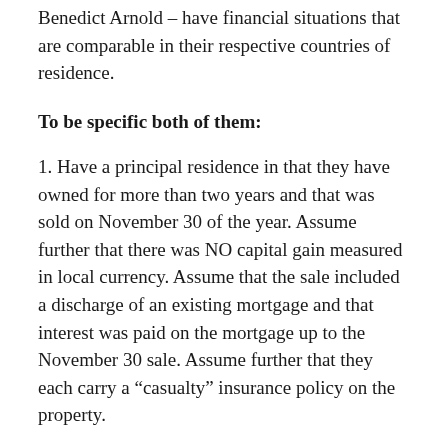Benedict Arnold – have financial situations that are comparable in their respective countries of residence.
To be specific both of them:
1. Have a principal residence in that they have owned for more than two years and that was sold on November 30 of the year. Assume further that there was NO capital gain measured in local currency. Assume that the sale included a discharge of an existing mortgage and that interest was paid on the mortgage up to the November 30 sale. Assume further that they each carry a “casualty” insurance policy on the property.